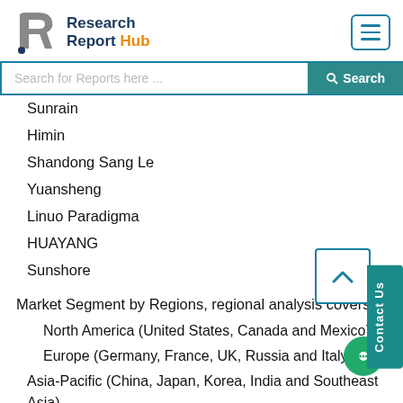Research Report Hub
Search for Reports here ...
Sunrain
Himin
Shandong Sang Le
Yuansheng
Linuo Paradigma
HUAYANG
Sunshore
Market Segment by Regions, regional analysis covers
North America (United States, Canada and Mexico)
Europe (Germany, France, UK, Russia and Italy)
Asia-Pacific (China, Japan, Korea, India and Southeast Asia)
South America (Brazil, Argentina, Colombia etc.)
Middle East and Africa (Saudi Arabia, UAE, Egypt, Nigeria and South Africa)